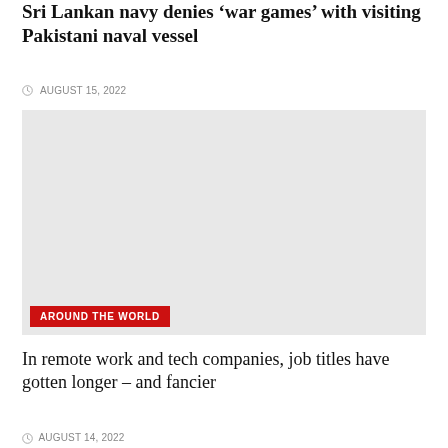Sri Lankan navy denies 'war games' with visiting Pakistani naval vessel
AUGUST 15, 2022
[Figure (photo): Large grey placeholder image for news article photo]
AROUND THE WORLD
In remote work and tech companies, job titles have gotten longer – and fancier
AUGUST 14, 2022